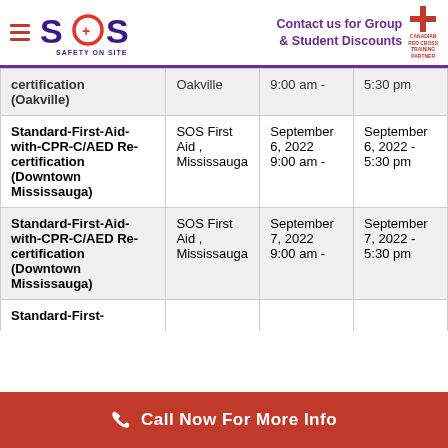SOS Safety On Site | Contact us for Group & Student Discounts | Canadian Red Cross Training Partner
| Course | Location | Start | End |
| --- | --- | --- | --- |
| certification (Oakville) | Oakville | 9:00 am - | 5:30 pm |
| Standard-First-Aid-with-CPR-C/AED Re-certification (Downtown Mississauga) | SOS First Aid , Mississauga | September 6, 2022 9:00 am - | September 6, 2022 - 5:30 pm |
| Standard-First-Aid-with-CPR-C/AED Re-certification (Downtown Mississauga) | SOS First Aid , Mississauga | September 7, 2022 9:00 am - | September 7, 2022 - 5:30 pm |
| Standard-First- |  |  |  |
Call Now For More Info